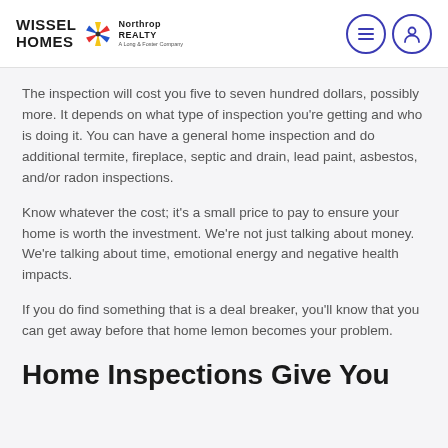WISSEL HOMES | Northrop Realty
The inspection will cost you five to seven hundred dollars, possibly more. It depends on what type of inspection you're getting and who is doing it. You can have a general home inspection and do additional termite, fireplace, septic and drain, lead paint, asbestos, and/or radon inspections.
Know whatever the cost; it's a small price to pay to ensure your home is worth the investment. We're not just talking about money. We're talking about time, emotional energy and negative health impacts.
If you do find something that is a deal breaker, you'll know that you can get away before that home lemon becomes your problem.
Home Inspections Give You